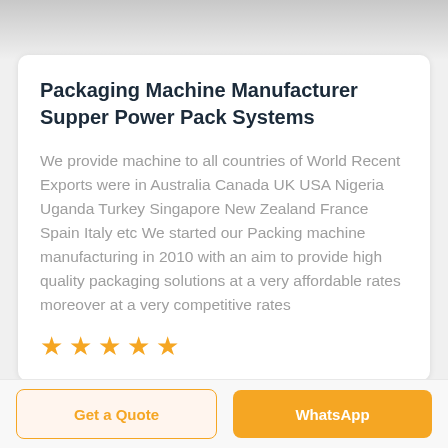[Figure (photo): Top portion of a packaging machine photo, gray/white background visible]
Packaging Machine Manufacturer Supper Power Pack Systems
We provide machine to all countries of World Recent Exports were in Australia Canada UK USA Nigeria Uganda Turkey Singapore New Zealand France Spain Italy etc We started our Packing machine manufacturing in 2010 with an aim to provide high quality packaging solutions at a very affordable rates moreover at a very competitive rates
[Figure (other): 5 orange star rating icons]
Get a Quote
WhatsApp